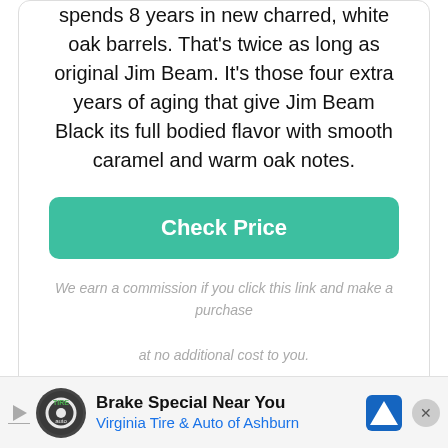spends 8 years in new charred, white oak barrels. That's twice as long as original Jim Beam. It's those four extra years of aging that give Jim Beam Black its full bodied flavor with smooth caramel and warm oak notes.
Check Price
We earn a commission if you click this link and make a purchase at no additional cost to you.
White Label
The White label, on the other hand, is aged for only
[Figure (infographic): Advertisement banner: Brake Special Near You - Virginia Tire & Auto of Ashburn, with tire auto logo and navigation arrow icon]